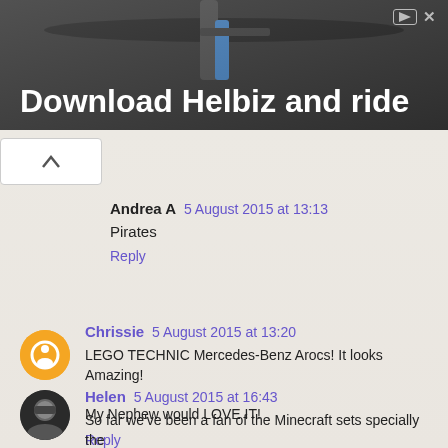[Figure (photo): Ad banner for Helbiz scooter app showing handlebars of an electric scooter with text 'Download Helbiz and ride']
Andrea A  5 August 2015 at 13:13
Pirates
Reply
Chrissie  5 August 2015 at 13:20
LEGO TECHNIC Mercedes-Benz Arocs! It looks Amazing!
My Nephew would LOVE IT!
Reply
Helen  5 August 2015 at 16:43
So far we've been a fan of the Minecraft sets specially the